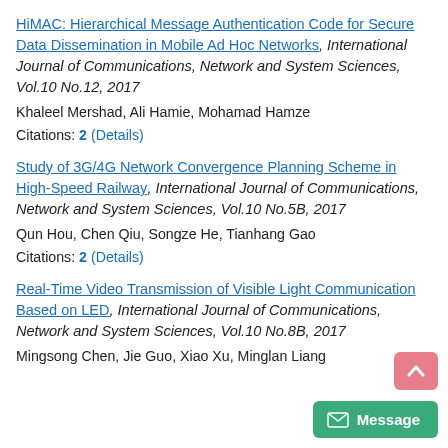HiMAC: Hierarchical Message Authentication Code for Secure Data Dissemination in Mobile Ad Hoc Networks, International Journal of Communications, Network and System Sciences, Vol.10 No.12, 2017
Khaleel Mershad, Ali Hamie, Mohamad Hamze
Citations: 2 (Details)
Study of 3G/4G Network Convergence Planning Scheme in High-Speed Railway, International Journal of Communications, Network and System Sciences, Vol.10 No.5B, 2017
Qun Hou, Chen Qiu, Songze He, Tianhang Gao
Citations: 2 (Details)
Real-Time Video Transmission of Visible Light Communication Based on LED, International Journal of Communications, Network and System Sciences, Vol.10 No.8B, 2017
Mingsong Chen, Jie Guo, Xiao Xu, Minglan Liang